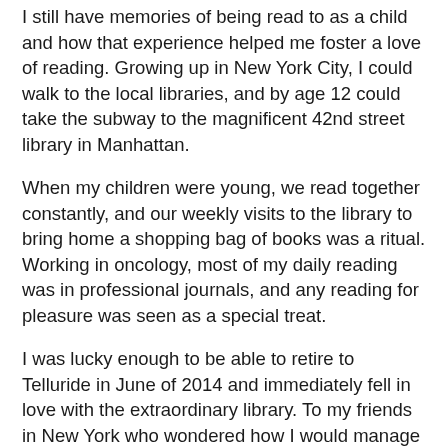I still have memories of being read to as a child and how that experience helped me foster a love of reading. Growing up in New York City, I could walk to the local libraries, and by age 12 could take the subway to the magnificent 42nd street library in Manhattan.
When my children were young, we read together constantly, and our weekly visits to the library to bring home a shopping bag of books was a ritual. Working in oncology, most of my daily reading was in professional journals, and any reading for pleasure was seen as a special treat.
I was lucky enough to be able to retire to Telluride in June of 2014 and immediately fell in love with the extraordinary library. To my friends in New York who wondered how I would manage the long winters, I responded: READ! I was introduced to the wonderful work of the Friends of the Library when I participated in